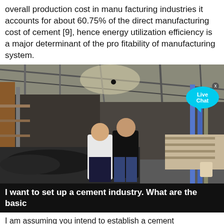overall production cost in manu facturing industries it accounts for about 60.75% of the direct manufacturing cost of cement [9], hence energy utilization efficiency is a major determinant of the pro fitability of manufacturing system.
[Figure (photo): Two men standing inside an industrial manufacturing facility, likely a cement plant, with heavy machinery, conveyor belts, and large metal structures visible. A 'Live Chat' bubble overlay is visible in the top right corner of the image.]
I want to set up a cement industry. What are the basic
I am assuming you intend to establish a cement